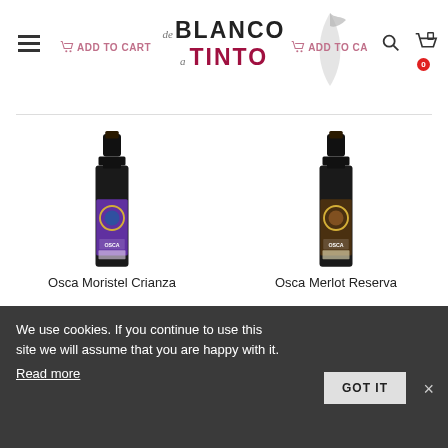de BLANCO a TINTO — navigation header with logo, ADD TO CART buttons, search and cart icons
[Figure (photo): Wine bottle of Osca Moristel Crianza — dark bottle with colorful label featuring blue/purple mosaic design and OSCA branding]
Osca Moristel Crianza
[Figure (photo): Wine bottle of Osca Merlot Reserva — dark bottle with colorful label featuring gold/brown mosaic design and OSCA branding]
Osca Merlot Reserva
We use cookies. If you continue to use this site we will assume that you are happy with it. Read more   GOT IT  ×